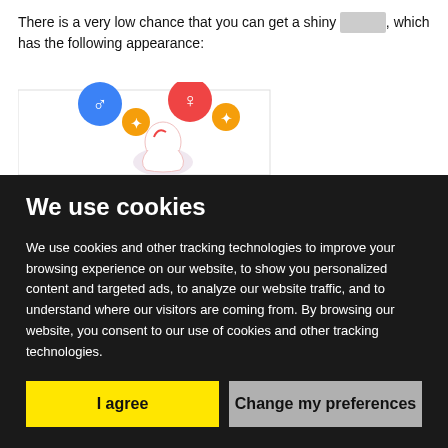There is a very low chance that you can get a shiny [garbled], which has the following appearance:
[Figure (illustration): An illustration showing a shiny Pokémon or game character with gender icons (male/female symbols with stars) floating above. The character appears white/light colored.]
We use cookies
We use cookies and other tracking technologies to improve your browsing experience on our website, to show you personalized content and targeted ads, to analyze our website traffic, and to understand where our visitors are coming from. By browsing our website, you consent to our use of cookies and other tracking technologies.
I agree
Change my preferences